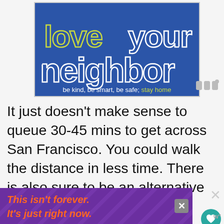[Figure (illustration): Blue banner graphic with retro-style outlined font reading 'love your neighbor' and subtitle text 'be kind, be smart, be safe; stay home' on a royal blue background]
It just doesn't make sense to queue 30-45 mins to get across San Francisco. You could walk the distance in less time. There is also sure to be an alternative to the Cable car. The MUNI Transport system is very comprehensive so you will never NEED to get a Cable car. However, there
[Figure (illustration): Purple advertisement banner with orange italic text reading 'This isn't forever. It's just right now.' with diagonal stripe background pattern and a close button]